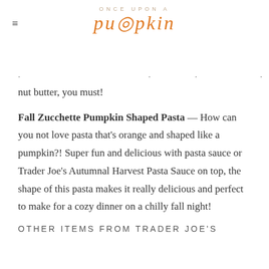ONCE UPON A pumpkin
nut butter, you must!
Fall Zucchette Pumpkin Shaped Pasta — How can you not love pasta that's orange and shaped like a pumpkin?! Super fun and delicious with pasta sauce or Trader Joe's Autumnal Harvest Pasta Sauce on top, the shape of this pasta makes it really delicious and perfect to make for a cozy dinner on a chilly fall night!
OTHER ITEMS FROM TRADER JOE'S